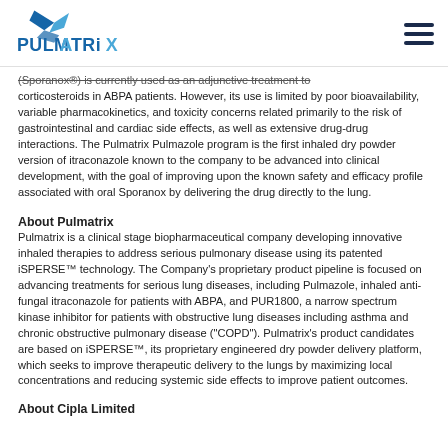PULMATRIX [logo]
(Sporanox®) is currently used as an adjunctive treatment to corticosteroids in ABPA patients. However, its use is limited by poor bioavailability, variable pharmacokinetics, and toxicity concerns related primarily to the risk of gastrointestinal and cardiac side effects, as well as extensive drug-drug interactions. The Pulmatrix Pulmazole program is the first inhaled dry powder version of itraconazole known to the company to be advanced into clinical development, with the goal of improving upon the known safety and efficacy profile associated with oral Sporanox by delivering the drug directly to the lung.
About Pulmatrix
Pulmatrix is a clinical stage biopharmaceutical company developing innovative inhaled therapies to address serious pulmonary disease using its patented iSPERSE™ technology. The Company's proprietary product pipeline is focused on advancing treatments for serious lung diseases, including Pulmazole, inhaled anti-fungal itraconazole for patients with ABPA, and PUR1800, a narrow spectrum kinase inhibitor for patients with obstructive lung diseases including asthma and chronic obstructive pulmonary disease ("COPD"). Pulmatrix's product candidates are based on iSPERSE™, its proprietary engineered dry powder delivery platform, which seeks to improve therapeutic delivery to the lungs by maximizing local concentrations and reducing systemic side effects to improve patient outcomes.
About Cipla Limited